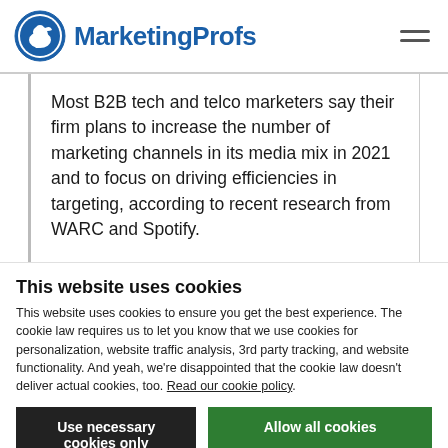MarketingProfs
Most B2B tech and telco marketers say their firm plans to increase the number of marketing channels in its media mix in 2021 and to focus on driving efficiencies in targeting, according to recent research from WARC and Spotify.
This website uses cookies
This website uses cookies to ensure you get the best experience. The cookie law requires us to let you know that we use cookies for personalization, website traffic analysis, 3rd party tracking, and website functionality. And yeah, we’re disappointed that the cookie law doesn’t deliver actual cookies, too. Read our cookie policy.
Use necessary cookies only | Allow all cookies
Show details